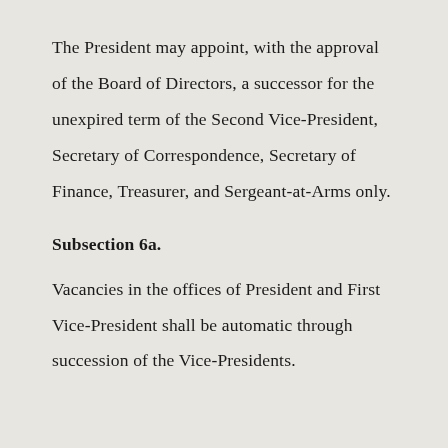The President may appoint, with the approval of the Board of Directors, a successor for the unexpired term of the Second Vice-President, Secretary of Correspondence, Secretary of Finance, Treasurer, and Sergeant-at-Arms only.
Subsection 6a.
Vacancies in the offices of President and First Vice-President shall be automatic through succession of the Vice-Presidents.